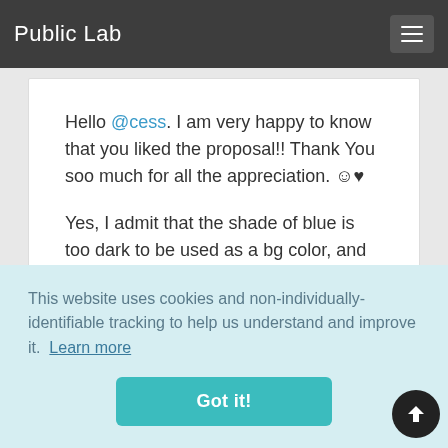Public Lab
Hello @cess. I am very happy to know that you liked the proposal!! Thank You soo much for all the appreciation. ☺♥
Yes, I admit that the shade of blue is too dark to be used as a bg color, and
This website uses cookies and non-individually-identifiable tracking to help us understand and improve it. Learn more
Got it!
CSS like background-blend-mode,